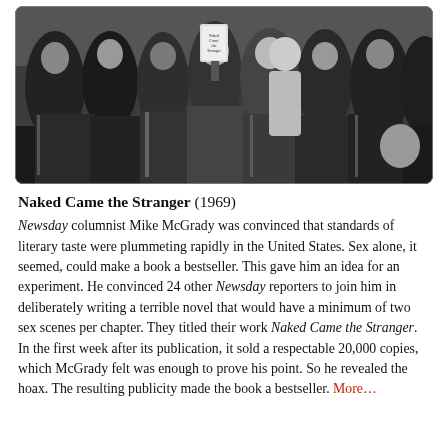[Figure (photo): Black and white photograph of a group of people, one person holding up a copy of a book, taken in 1969 at what appears to be a press event or book promotion gathering.]
Naked Came the Stranger (1969)
Newsday columnist Mike McGrady was convinced that standards of literary taste were plummeting rapidly in the United States. Sex alone, it seemed, could make a book a bestseller. This gave him an idea for an experiment. He convinced 24 other Newsday reporters to join him in deliberately writing a terrible novel that would have a minimum of two sex scenes per chapter. They titled their work Naked Came the Stranger. In the first week after its publication, it sold a respectable 20,000 copies, which McGrady felt was enough to prove his point. So he revealed the hoax. The resulting publicity made the book a bestseller. More…